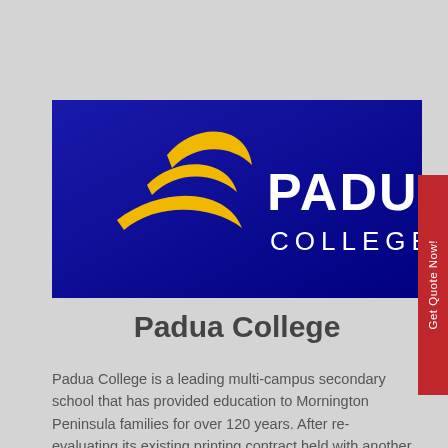[Figure (logo): Padua College logo: dark blue background with a yellow stylized bird/wave symbol on the left and white text 'PADUA COLLEGE' on the right]
Padua College
Padua College is a leading multi-campus secondary school that has provided education to Mornington Peninsula families for over 120 years. After re-evaluating its existing printing contract held with another manufacturer, Padua College sought a more competitive offer via tender.